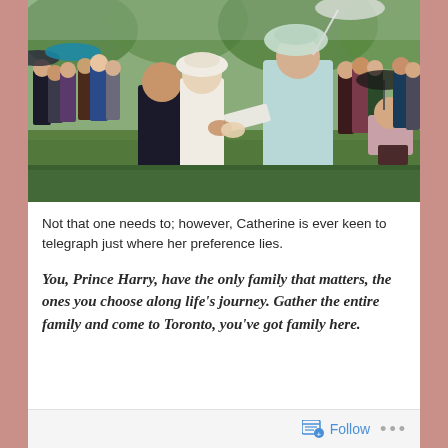[Figure (photo): Outdoor garden party scene with crowd of people. A woman in a light blue/mint dress and floral hat shakes hands with an elderly gentleman in a dark suit, accompanied by a woman in white. Many attendees in formal dress stand in the background holding umbrellas on a grassy lawn.]
Not that one needs to; however, Catherine is ever keen to telegraph just where her preference lies.
You, Prince Harry, have the only family that matters, the ones you choose along life's journey. Gather the entire family and come to Toronto, you've got family here.
Follow ...